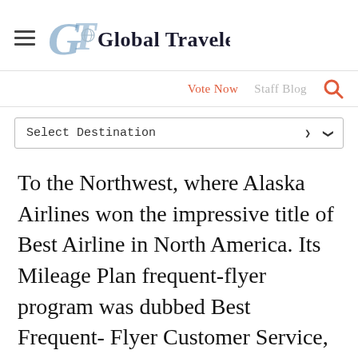Global Traveler
Vote Now   Staff Blog
Select Destination
To the Northwest, where Alaska Airlines won the impressive title of Best Airline in North America. Its Mileage Plan frequent-flyer program was dubbed Best Frequent- Flyer Customer Service, Americas.